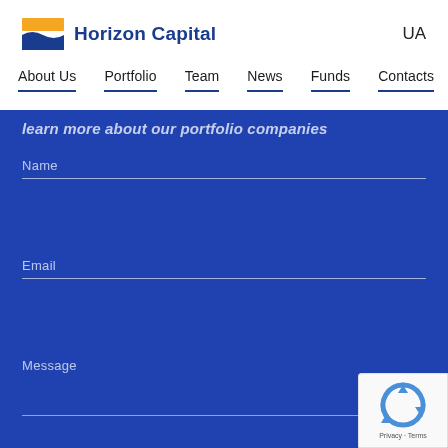[Figure (logo): Horizon Capital logo with orange and blue wave icon and blue text]
UA
About Us  Portfolio  Team  News  Funds  Contacts
learn more about our portfolio companies
Name
Email
Message
[Figure (logo): Google reCAPTCHA badge with recycling arrow icon and Privacy · Terms text]